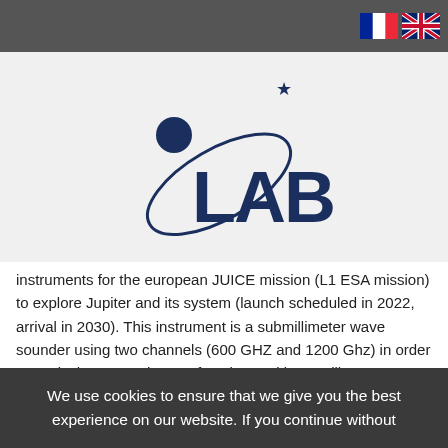[Figure (logo): LAB (Laboratoire d'Astrophysique de Bordeaux) logo with orbital circle and star graphic, dark blue text]
instruments for the european JUICE mission (L1 ESA mission) to explore Jupiter and its system (launch scheduled in 2022, arrival in 2030). This instrument is a submillimeter wave sounder using two channels (600 GHZ and 1200 Ghz) in order to study the atmospheres of Jupiter and its satellites (composition, structure and dynamics), as well as satellite surfaces. It has been developped by a european consortium led by the Max Planck Institute in Göttingen (PI Paul Hartogh, contributions to hardware, software and science). In
We use cookies to ensure that we give you the best experience on our website. If you continue without